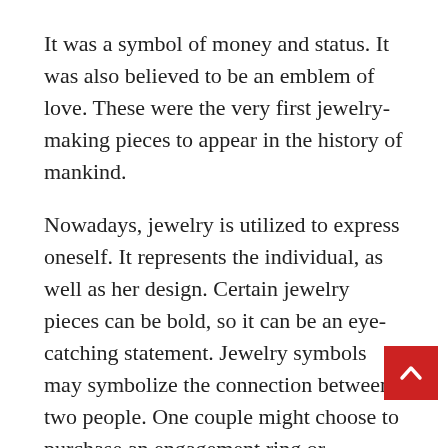It was a symbol of money and status. It was also believed to be an emblem of love. These were the very first jewelry-making pieces to appear in the history of mankind.
Nowadays, jewelry is utilized to express oneself. It represents the individual, as well as her design. Certain jewelry pieces can be bold, so it can be an eye-catching statement. Jewelry symbols may symbolize the connection between two people. One couple might choose to purchase an engagement ring or wedding band to express the bond between them. In the past, jewelry has been used to symbolize wealth. Socially privileged people and wealth are more likely to wear expensive pieces of jewelry.